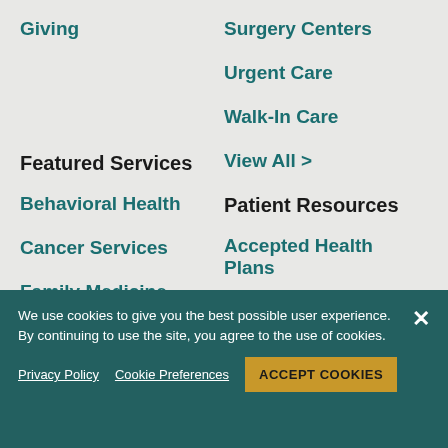Giving
Surgery Centers
Urgent Care
Walk-In Care
View All >
Featured Services
Patient Resources
Behavioral Health
Accepted Health Plans
Cancer Services
Classes and Events
Family Medicine
Estimate Costs
We use cookies to give you the best possible user experience. By continuing to use the site, you agree to the use of cookies.
Privacy Policy   Cookie Preferences   ACCEPT COOKIES